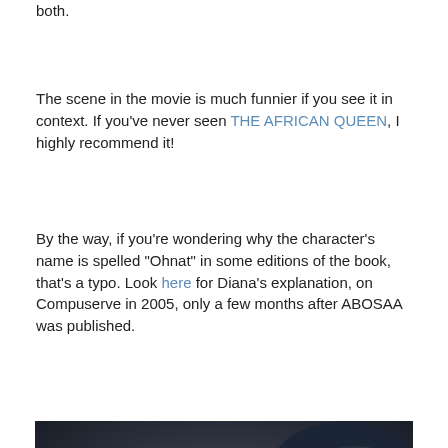both.
The scene in the movie is much funnier if you see it in context. If you've never seen THE AFRICAN QUEEN, I highly recommend it!
By the way, if you're wondering why the character's name is spelled "Ohnat" in some editions of the book, that's a typo. Look here for Diana's explanation, on Compuserve in 2005, only a few months after ABOSAA was published.
[Figure (photo): Close-up macro photograph of what appears to be a hermit crab or small sea creature in a shell, surrounded by rocks or other shells in dark tones]